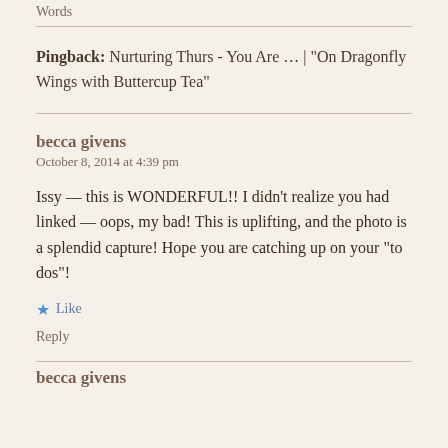Words
Pingback: Nurturing Thurs - You Are ... | "On Dragonfly Wings with Buttercup Tea"
becca givens
October 8, 2014 at 4:39 pm
Issy — this is WONDERFUL!! I didn't realize you had linked — oops, my bad! This is uplifting, and the photo is a splendid capture! Hope you are catching up on your “to dos”!
Like
Reply
becca givens